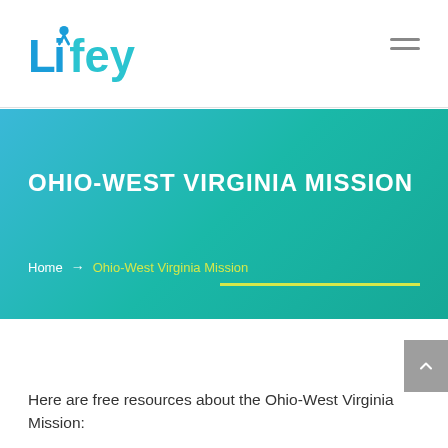[Figure (logo): Lifey logo — blue stylized text with person icon above the 'i']
OHIO-WEST VIRGINIA MISSION
Home → Ohio-West Virginia Mission
Here are free resources about the Ohio-West Virginia Mission: